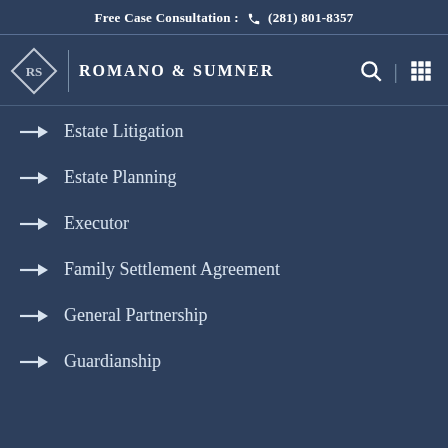Free Case Consultation : (281) 801-8357
[Figure (logo): Romano & Sumner law firm logo with diamond RS monogram and firm name]
Estate Litigation
Estate Planning
Executor
Family Settlement Agreement
General Partnership
Guardianship